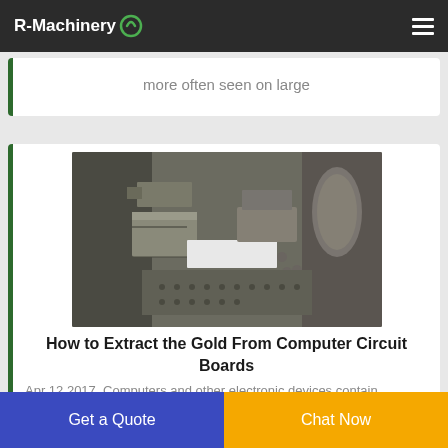R-Machinery
more often seen on large
[Figure (photo): Close-up photo of industrial machinery parts, showing metal components, bolts, and mechanical parts of what appears to be a circuit board processing or recycling machine.]
How to Extract the Gold From Computer Circuit Boards
Apr 12 2017  Computers and other electronic devices contain
Get a Quote
Chat Now